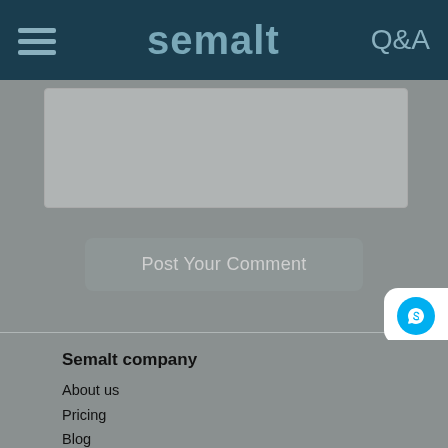semalt Q&A
[Figure (screenshot): Comment text area input box (grey)]
Post Your Comment
[Figure (infographic): Social media contact buttons: Skype, WhatsApp, Telegram]
Semalt company
About us
Pricing
Blog
Help Center
Company Presentation